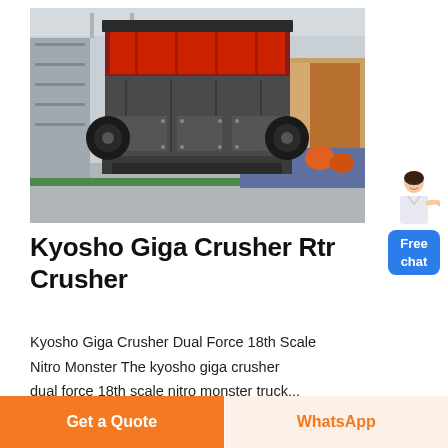[Figure (photo): Industrial impact crusher / jaw crusher machine photographed from the front in a factory/warehouse setting. Large metal machine with red interior visible at top, black rubber wheels on sides, grey steel body with bolt-pattern panels. A truck with cargo is visible in the background on the right.]
[Figure (illustration): Small cartoon avatar of a woman in white coat with hand extended, positioned above a blue 'Free chat' button widget in the top-right area.]
Kyosho Giga Crusher Rtr Crusher
Kyosho Giga Crusher Dual Force 18th Scale Nitro Monster The kyosho giga crusher dual force 18th scale nitro monster truck...
Click to read more...